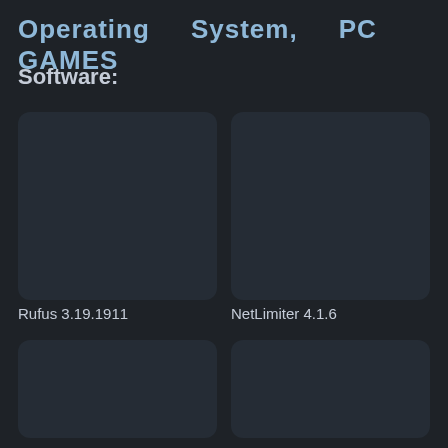Operating System, PC GAMES
Software:
[Figure (screenshot): Dark card thumbnail for Rufus 3.19.1911 software]
Rufus 3.19.1911
[Figure (screenshot): Dark card thumbnail for NetLimiter 4.1.6 software]
NetLimiter 4.1.6
[Figure (screenshot): Dark card thumbnail for unknown software (bottom left)]
[Figure (screenshot): Dark card thumbnail for unknown software (bottom right)]